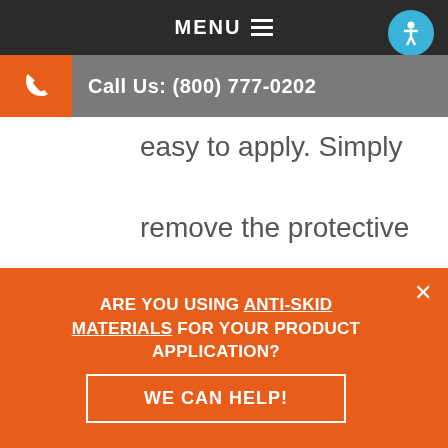MENU ≡
Call Us: (800) 777-0202
easy to apply. Simply remove the protective backing and apply it to the bottom of the pet bed. Without the need for heat
ARE YOU USING ANTI-SKID MATERIALS FOR YOUR PRODUCT APPLICATION?
WE CAN HELP!